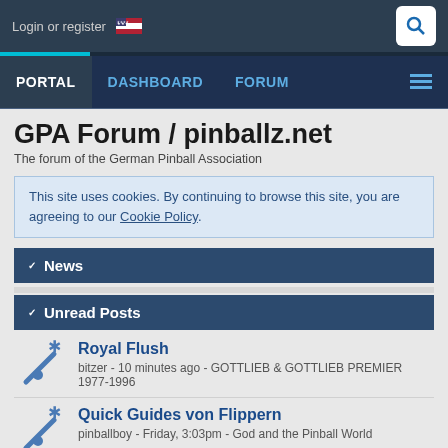Login or register
PORTAL  DASHBOARD  FORUM
GPA Forum / pinballz.net
The forum of the German Pinball Association
This site uses cookies. By continuing to browse this site, you are agreeing to our Cookie Policy.
News
Unread Posts
Royal Flush
bitzer - 10 minutes ago - GOTTLIEB & GOTTLIEB PREMIER 1977-1996
Quick Guides von Flippern
pinballboy - Friday, 3:03pm - God and the Pinball World
Custom Cards Vorlagen Templates links